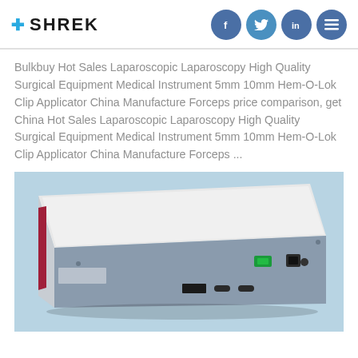SHREK
Bulkbuy Hot Sales Laparoscopic Laparoscopy High Quality Surgical Equipment Medical Instrument 5mm 10mm Hem-O-Lok Clip Applicator China Manufacture Forceps price comparison, get China Hot Sales Laparoscopic Laparoscopy High Quality Surgical Equipment Medical Instrument 5mm 10mm Hem-O-Lok Clip Applicator China Manufacture Forceps ...
[Figure (photo): Photo of a white/grey medical device box — a laparoscopic surgical equipment unit — viewed from a slight angle showing the front and back panels. The device has a white top, grey/blue sides, a red accent strip on the left, and on the rear panel: a green power switch, power inlet, and various ports/connectors including BNC connectors.]